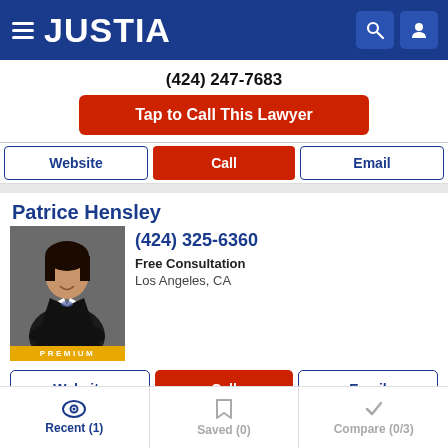JUSTIA
(424) 247-7683
Tap to Call This Lawyer
Website | Call | Email
Patrice Hensley
(424) 325-6360
Free Consultation
Los Angeles, CA
Website | Call | Email
Recent (1) | Saved (0) | Compare (0/3)